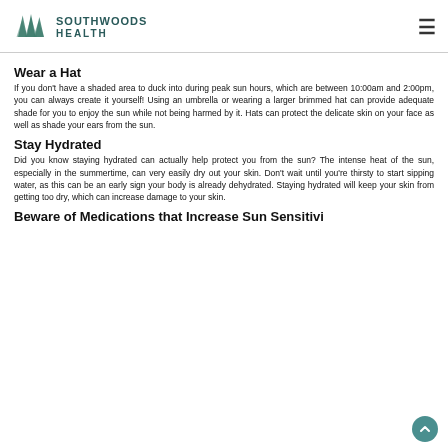SOUTHWOODS HEALTH
Wear a Hat
If you don't have a shaded area to duck into during peak sun hours, which are between 10:00am and 2:00pm, you can always create it yourself! Using an umbrella or wearing a larger brimmed hat can provide adequate shade for you to enjoy the sun while not being harmed by it. Hats can protect the delicate skin on your face as well as shade your ears from the sun.
Stay Hydrated
Did you know staying hydrated can actually help protect you from the sun? The intense heat of the sun, especially in the summertime, can very easily dry out your skin. Don't wait until you're thirsty to start sipping water, as this can be an early sign your body is already dehydrated. Staying hydrated will keep your skin from getting too dry, which can increase damage to your skin.
Beware of Medications that Increase Sun Sensitivity